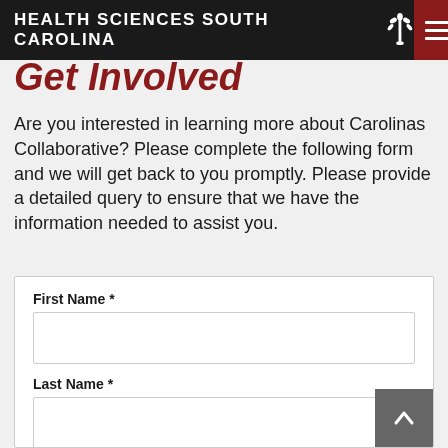HEALTH SCIENCES SOUTH CAROLINA
Get Involved
Are you interested in learning more about Carolinas Collaborative? Please complete the following form and we will get back to you promptly. Please provide a detailed query to ensure that we have the information needed to assist you.
First Name *
Last Name *
Organization